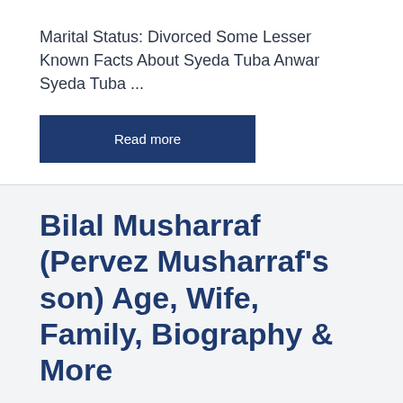Marital Status: Divorced Some Lesser Known Facts About Syeda Tuba Anwar Syeda Tuba ...
Read more
Bilal Musharraf (Pervez Musharraf's son) Age, Wife, Family, Biography & More
June 10, 2022 by Admin
Some Lesser Known Facts about Bilal Musharraf Bilal Musharraf is a Pakistani educationist and a